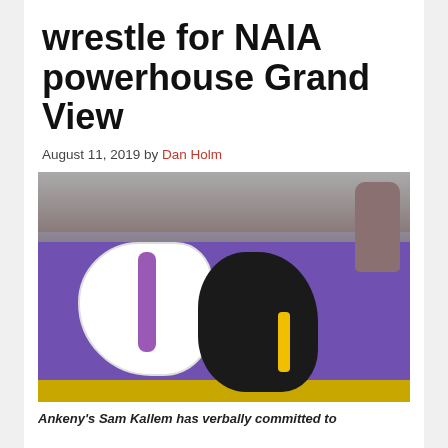wrestle for NAIA powerhouse Grand View
August 11, 2019 by Dan Holm
[Figure (photo): Two wrestlers competing on a purple mat. One wrestler in a white singlet with a purple stripe is being controlled by a wrestler in a black and gold singlet. Crowd and a photographer visible in the background.]
Ankeny's Sam Kallem has verbally committed to